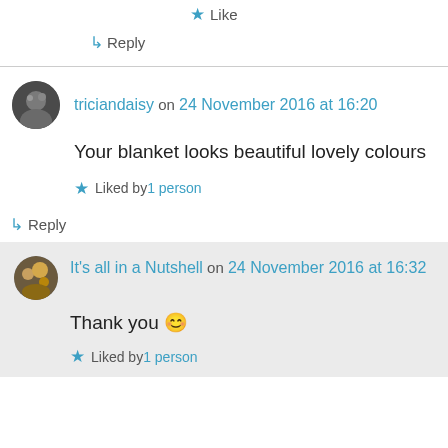★ Like
↳ Reply
triciandaisy on 24 November 2016 at 16:20
Your blanket looks beautiful lovely colours
★ Liked by 1 person
↳ Reply
It's all in a Nutshell on 24 November 2016 at 16:32
Thank you 😊
★ Liked by 1 person